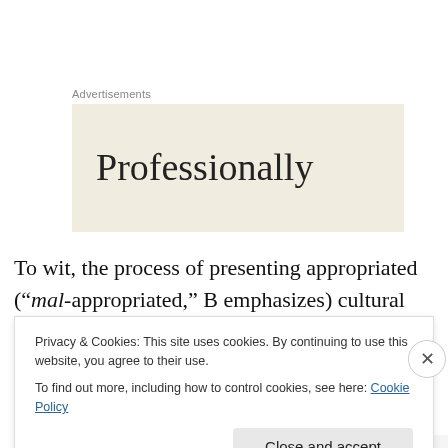Advertisements
[Figure (other): Advertisement banner with beige background showing the word 'Professionally' in large serif font, partially cut off]
To wit, the process of presenting appropriated (“mal-appropriated,” B emphasizes) cultural aesthetics in a hybrid pastiche is a controversial avenue for any artistic undertaking to pursue. But it’s one B and the rest of the
Privacy & Cookies: This site uses cookies. By continuing to use this website, you agree to their use.
To find out more, including how to control cookies, see here: Cookie Policy
Close and accept